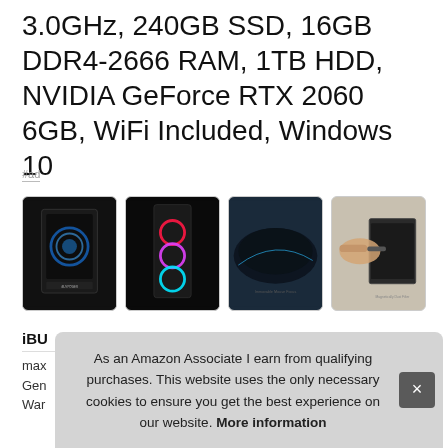3.0GHz, 240GB SSD, 16GB DDR4-2666 RAM, 1TB HDD, NVIDIA GeForce RTX 2060 6GB, WiFi Included, Windows 10
#ad
[Figure (photo): Four product images of a gaming desktop PC and accessories in a horizontal row]
iBU
max
Gen
War
As an Amazon Associate I earn from qualifying purchases. This website uses the only necessary cookies to ensure you get the best experience on our website. More information